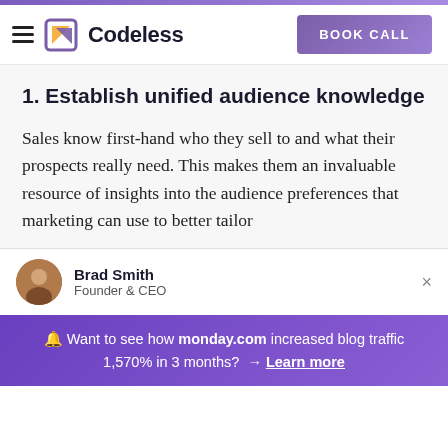Codeless | BOOK CALL
1. Establish unified audience knowledge
Sales know first-hand who they sell to and what their prospects really need. This makes them an invaluable resource of insights into the audience preferences that marketing can use to better tailor
Brad Smith
Founder & CEO
🔔 Want to see how monday.com increased blog traffic 1,570% in 3 months? → Learn more